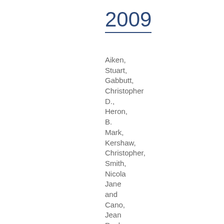2009
Aiken, Stuart, Gabbutt, Christopher D., Heron, B. Mark, Kershaw, Christopher, Smith, Nicola Jane and Cano, Jean Paul (2009)